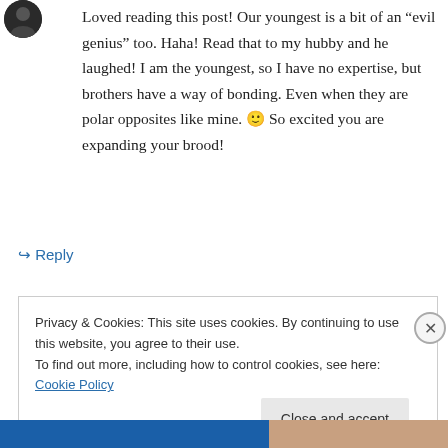[Figure (photo): Circular avatar/profile photo with dark background at top left]
Loved reading this post! Our youngest is a bit of an “evil genius” too. Haha! Read that to my hubby and he laughed! I am the youngest, so I have no expertise, but brothers have a way of bonding. Even when they are polar opposites like mine. 🙂 So excited you are expanding your brood!
↪ Reply
Privacy & Cookies: This site uses cookies. By continuing to use this website, you agree to their use.
To find out more, including how to control cookies, see here: Cookie Policy
Close and accept